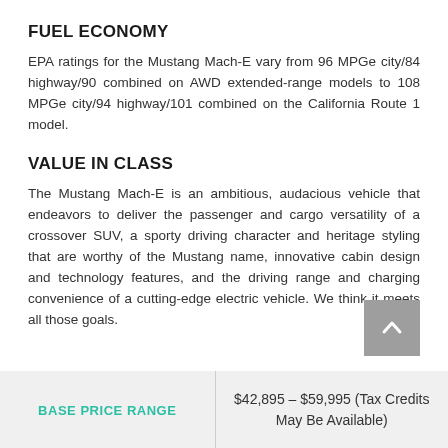FUEL ECONOMY
EPA ratings for the Mustang Mach-E vary from 96 MPGe city/84 highway/90 combined on AWD extended-range models to 108 MPGe city/94 highway/101 combined on the California Route 1 model.
VALUE IN CLASS
The Mustang Mach-E is an ambitious, audacious vehicle that endeavors to deliver the passenger and cargo versatility of a crossover SUV, a sporty driving character and heritage styling that are worthy of the Mustang name, innovative cabin design and technology features, and the driving range and charging convenience of a cutting-edge electric vehicle. We think it meets all those goals.
| BASE PRICE RANGE |  |
| --- | --- |
| BASE PRICE RANGE | $42,895 – $59,995 (Tax Credits May Be Available) |